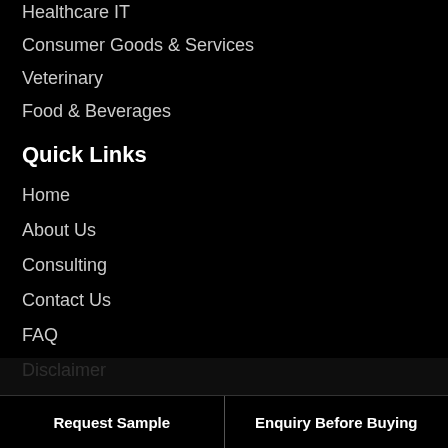Healthcare IT
Consumer Goods & Services
Veterinary
Food & Beverages
Quick Links
Home
About Us
Consulting
Contact Us
FAQ
Disclaimer
Return Policy
Request Sample | Enquiry Before Buying